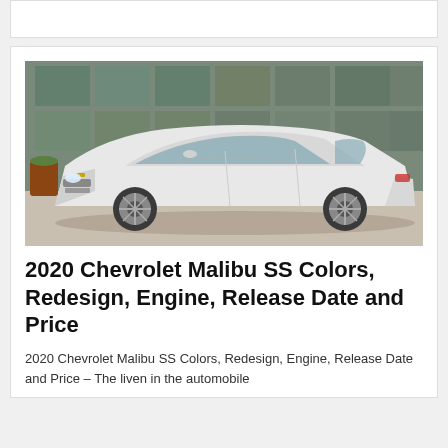[Figure (photo): 2020 Chevrolet Malibu SS white sedan parked in front of a modern building with glass facade]
2020 Chevrolet Malibu SS Colors, Redesign, Engine, Release Date and Price
2020 Chevrolet Malibu SS Colors, Redesign, Engine, Release Date and Price – The liven in the automobile